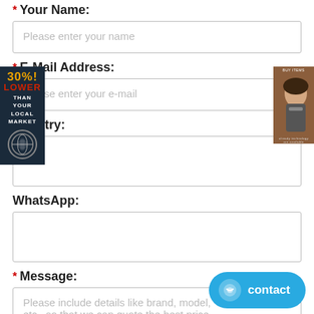* Your Name:
Please enter your name
* E-Mail Address:
Please enter your e-mail
Country:
WhatsApp:
* Message:
Please include details like brand, model, etc., so that we can quote the best price.